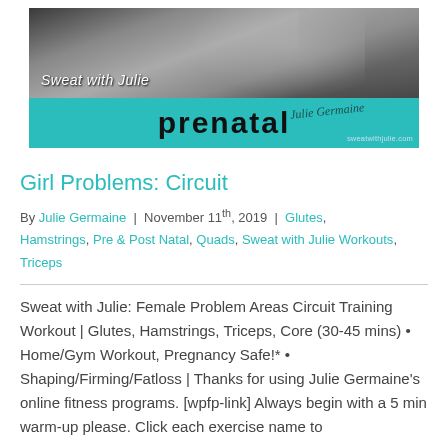[Figure (photo): Banner image for 'Sweat with Julie Prenatal' — black and white photo of a pregnant woman, with teal bottom bar, large text 'prenatal' in black, cursive signature overlay, and sweatwithjulie.com URL]
Girl Problems: Circuit
By Julie Germaine | November 11th, 2019 | Glutes, Hamstrings, Pre & Post Natal, Quads, Sweat with Julie Workouts, Triceps
Sweat with Julie: Female Problem Areas Circuit Training Workout | Glutes, Hamstrings, Triceps, Core (30-45 mins) • Home/Gym Workout, Pregnancy Safe!* • Shaping/Firming/Fatloss | Thanks for using Julie Germaine's online fitness programs. [wpfp-link] Always begin with a 5 min warm-up please. Click each exercise name to